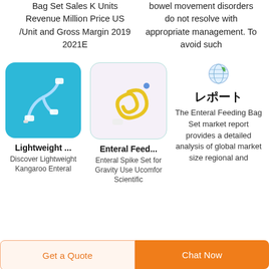Bag Set Sales K Units Revenue Million Price US /Unit and Gross Margin 2019 2021E
bowel movement disorders do not resolve with appropriate management. To avoid such
[Figure (photo): Blue background medical enteral feeding tube set with white connectors]
[Figure (photo): White/lavender background enteral spike set with yellow tubing coiled]
[Figure (logo): Small globe/leaf report icon]
レポート
The Enteral Feeding Bag Set market report provides a detailed analysis of global market size regional and
Lightweight ...
Discover Lightweight Kangaroo Enteral
Enteral Feed...
Enteral Spike Set for Gravity Use Ucomfor Scientific
Get a Quote
Chat Now